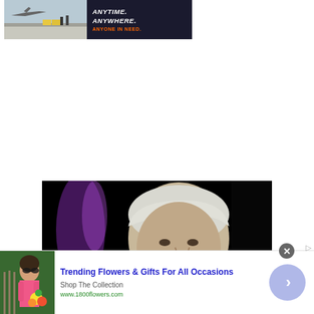[Figure (photo): Banner advertisement showing a tarmac/airport scene with text 'ANYTIME. ANYWHERE. ANYONE IN NEED.']
[Figure (photo): Video thumbnail showing an elderly woman with silver hair against a dark/black background with purple lighting]
[Figure (photo): Bottom advertisement banner for 1800flowers.com showing a woman with flowers, titled 'Trending Flowers & Gifts For All Occasions', with subtitle 'Shop The Collection' and URL 'www.1800flowers.com']